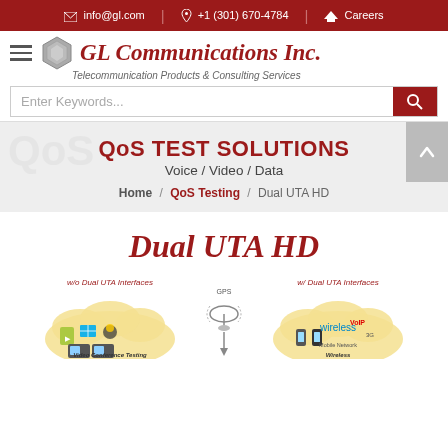info@gl.com | +1 (301) 670-4784 | Careers
[Figure (logo): GL Communications Inc. logo with hexagonal icon and italic red text. Subtitle: Telecommunication Products & Consulting Services]
Enter Keywords...
QoS TEST SOLUTIONS
Voice / Video / Data
Home / QoS Testing / Dual UTA HD
Dual UTA HD
[Figure (illustration): Illustration showing two network diagrams side by side: left labeled 'w/o Dual UTA Interfaces' showing Video Conference Testing on mobile devices, center showing GPS satellite, right labeled 'w/ Dual UTA Interfaces' showing wireless mobile network testing.]